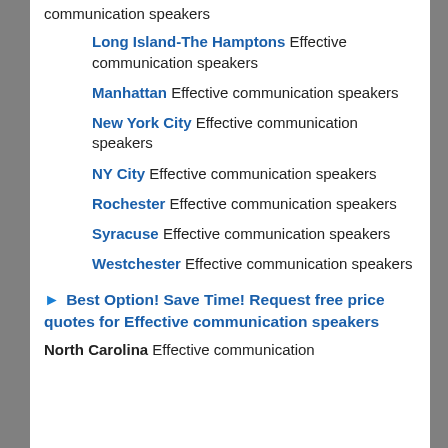communication speakers
Long Island-The Hamptons Effective communication speakers
Manhattan Effective communication speakers
New York City Effective communication speakers
NY City Effective communication speakers
Rochester Effective communication speakers
Syracuse Effective communication speakers
Westchester Effective communication speakers
▶ Best Option! Save Time! Request free price quotes for Effective communication speakers
North Carolina Effective communication